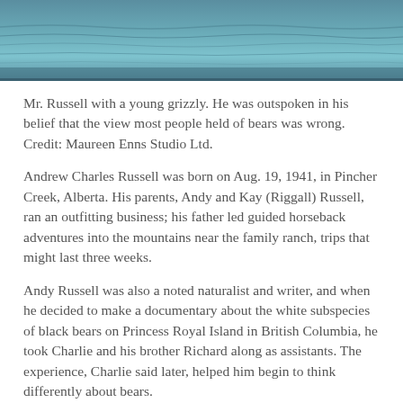[Figure (photo): Partial photograph showing water/ocean surface with blue-teal tones, cropped at the top of the page.]
Mr. Russell with a young grizzly. He was outspoken in his belief that the view most people held of bears was wrong. Credit: Maureen Enns Studio Ltd.
Andrew Charles Russell was born on Aug. 19, 1941, in Pincher Creek, Alberta. His parents, Andy and Kay (Riggall) Russell, ran an outfitting business; his father led guided horseback adventures into the mountains near the family ranch, trips that might last three weeks.
Andy Russell was also a noted naturalist and writer, and when he decided to make a documentary about the white subspecies of black bears on Princess Royal Island in British Columbia, he took Charlie and his brother Richard along as assistants. The experience, Charlie said later, helped him begin to think differently about bears.